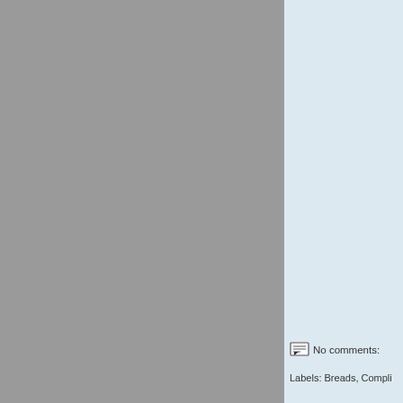[Figure (photo): Gray background area occupying the left portion of the page, likely a browser or application chrome/background]
[Figure (photo): Light blue sidebar panel with a partially visible photo/image frame at the top showing a warm-toned photograph]
No comments:
Labels: Breads, Compli